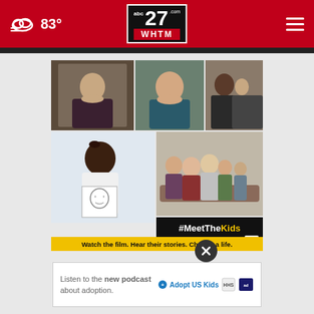abc27 WHTM | 83°
[Figure (photo): Collage of photos showing foster/adoptable children and families with #MeetTheKids campaign overlay. Shows 5 photos: a young man in dark jacket, a smiling woman in blue, a boy and person in a studio, a young black girl holding a drawing, and a family group on a couch. Bottom section has black overlay with text '#MeetTheKids 1.800.585.SWAN' and yellow banner 'Watch the film. Hear their stories. Change a life.']
[Figure (infographic): Ad banner: 'Listen to the new podcast about adoption.' with Adopt US Kids logo, HHS logo, and Ad Council logo]